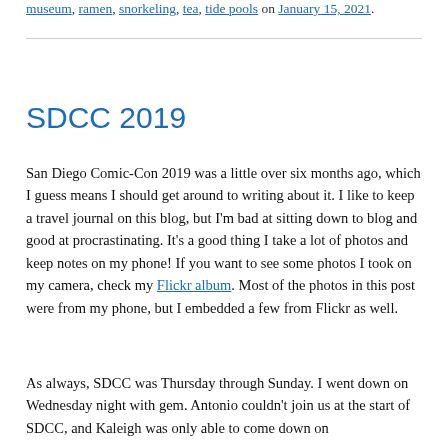museum, ramen, snorkeling, tea, tide pools on January 15, 2021.
SDCC 2019
San Diego Comic-Con 2019 was a little over six months ago, which I guess means I should get around to writing about it. I like to keep a travel journal on this blog, but I'm bad at sitting down to blog and good at procrastinating. It's a good thing I take a lot of photos and keep notes on my phone! If you want to see some photos I took on my camera, check my Flickr album. Most of the photos in this post were from my phone, but I embedded a few from Flickr as well.
As always, SDCC was Thursday through Sunday. I went down on Wednesday night with gem. Antonio couldn't join us at the start of SDCC, and Kaleigh was only able to come down on